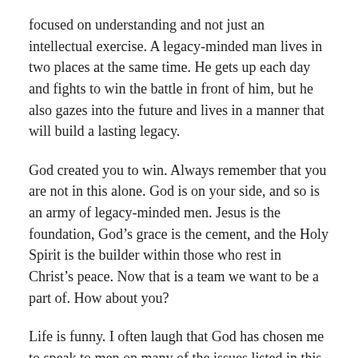focused on understanding and not just an intellectual exercise. A legacy-minded man lives in two places at the same time. He gets up each day and fights to win the battle in front of him, but he also gazes into the future and lives in a manner that will build a lasting legacy.
God created you to win. Always remember that you are not in this alone. God is on your side, and so is an army of legacy-minded men. Jesus is the foundation, God’s grace is the cement, and the Holy Spirit is the builder within those who rest in Christ’s peace. Now that is a team we want to be a part of. How about you?
Life is funny. I often laugh that God has chosen me to speak to men on many of the issues listed in this book. This can be especially humbling because everything I am encouraging you to do, I got wrong at some point in my life. I’m not expecting you to be perfect, and neither is God. This, of